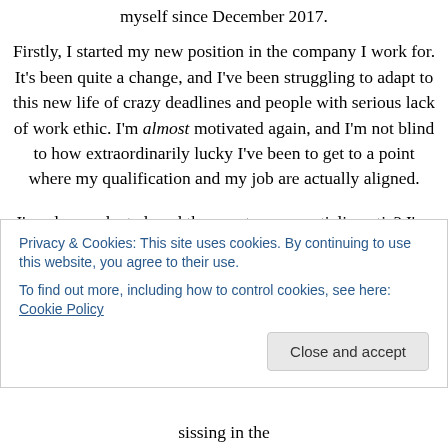myself since December 2017.
Firstly, I started my new position in the company I work for. It's been quite a change, and I've been struggling to adapt to this new life of crazy deadlines and people with serious lack of work ethic. I'm almost motivated again, and I'm not blind to how extraordinarily lucky I've been to get to a point where my qualification and my job are actually aligned.
I've also graduated, and the event was… anticlimactic? I've worked my butt off to get here, and yet the day felt rushed and the moment passed too quick. However, my
Privacy & Cookies: This site uses cookies. By continuing to use this website, you agree to their use.
To find out more, including how to control cookies, see here: Cookie Policy
Close and accept
sissing in the